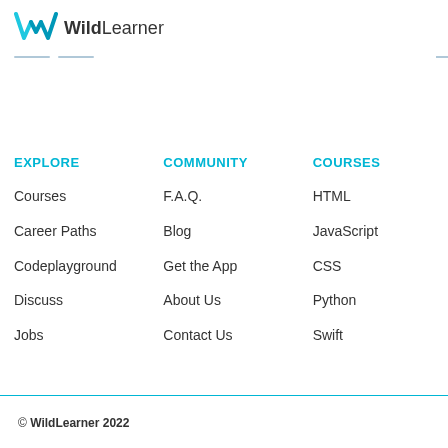[Figure (logo): WildLearner logo with blue W icon and WildLearner text]
EXPLORE
COMMUNITY
COURSES
Courses
F.A.Q.
HTML
Career Paths
Blog
JavaScript
Codeplayground
Get the App
CSS
Discuss
About Us
Python
Jobs
Contact Us
Swift
© WildLearner 2022